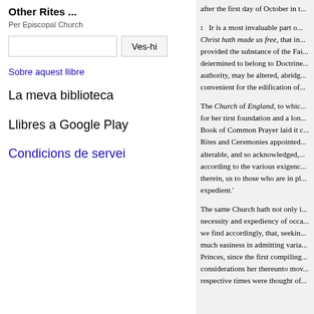Other Rites ...
Per Episcopal Church
Sobre aquest llibre
La meva biblioteca
Llibres a Google Play
Condicions de servei
after the first day of October in t...
: Ir is a most invaluable part o... Christ hath made us free, that in... provided the substance of the Fai... deiermined to belong to Doctrine... authority, may be altered, abridg... convenient for the edification of...
The Church of England, to whic... for her tirst foundation and a lon... Book of Common Prayer laid it c... Rites and Ceremonies appointed... alterable, and so acknowledged,... according to the various exigenc... therein, us to those who are in pl... expedient.'
The same Church hath not only i... necessity and expediency of occa... we find accordingly, that, seekin... much easiness in admitting varia... Princes, since the first compiling... considerations her thereunto mov... respective times were thought of...